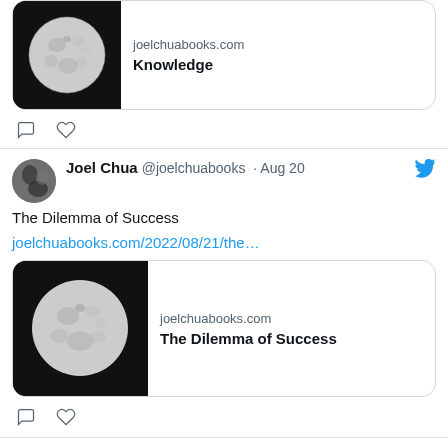[Figure (screenshot): Partial tweet showing a link card with moon image. Link card shows joelchuabooks.com and 'Knowledge']
[Figure (screenshot): Comment and heart action icons for first tweet]
Joel Chua @joelchuabooks · Aug 20
The Dilemma of Success
joelchuabooks.com/2022/08/21/the…
[Figure (screenshot): Link card with moon image. Shows joelchuabooks.com and 'The Dilemma of Success']
[Figure (screenshot): Comment and heart action icons for second tweet]
Joel Chua @joelchuabooks · Aug 20
Double espresso at 8pm. Not a good idea.
[Figure (photo): Partial bottom photo showing what appears to be a coffee cup on a wooden surface]